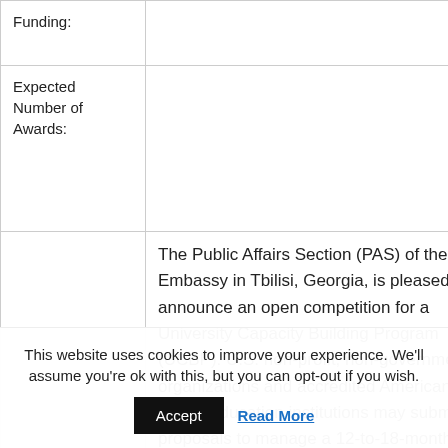|  |  |
| --- | --- |
| Funding: |  |
| Expected Number of Awards: |  |
|  | The Public Affairs Section (PAS) of the U.S. Embassy in Tbilisi, Georgia, is pleased to announce an open competition for a University Capacity Building Program (UCBP). U.S. non-profit, non-governmental organizations and accredited American higher education institutions may submit proposals to manage a 12-to-18-month |
This website uses cookies to improve your experience. We'll assume you're ok with this, but you can opt-out if you wish.
Accept  Read More